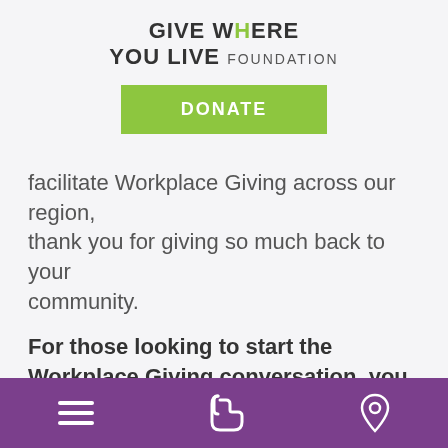GIVE WHERE YOU LIVE FOUNDATION
[Figure (other): Green DONATE button]
facilitate Workplace Giving across our region, thank you for giving so much back to your community.
For those looking to start the Workplace Giving conversation, you can access all the resources you need on the Workplace Giving page on our Website.
If you have any questions about getting
Navigation bar with menu, phone, and location icons